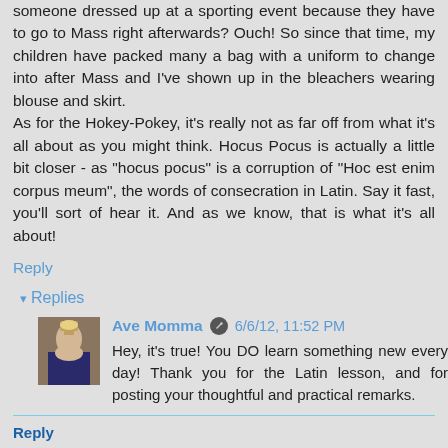someone dressed up at a sporting event because they have to go to Mass right afterwards? Ouch! So since that time, my children have packed many a bag with a uniform to change into after Mass and I've shown up in the bleachers wearing blouse and skirt.
As for the Hokey-Pokey, it's really not as far off from what it's all about as you might think. Hocus Pocus is actually a little bit closer - as "hocus pocus" is a corruption of "Hoc est enim corpus meum", the words of consecration in Latin. Say it fast, you'll sort of hear it. And as we know, that is what it's all about!
Reply
▾ Replies
Ave Momma  6/6/12, 11:52 PM
Hey, it's true! You DO learn something new every day! Thank you for the Latin lesson, and for posting your thoughtful and practical remarks.
Reply